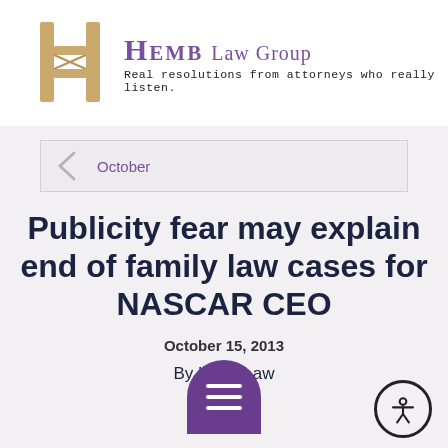[Figure (logo): HEMB Law Group logo with stylized H lettermark in gold/tan and purple text reading 'HEMB Law Group' with tagline 'Real resolutions from attorneys who really listen.']
October
Publicity fear may explain end of family law cases for NASCAR CEO
October 15, 2013
By H[emb] Law